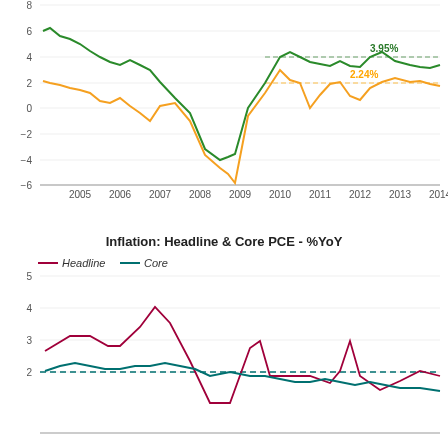[Figure (line-chart): ]
[Figure (line-chart): Inflation: Headline & Core PCE - %YoY]